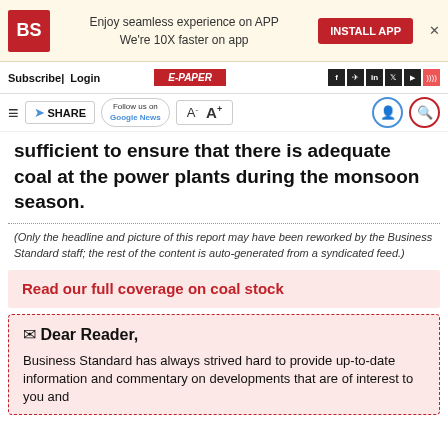BS | Enjoy seamless experience on APP We're 10X faster on app | INSTALL APP
Subscribe | Login | E-PAPER
SHARE | Follow us on Google News | A- A+
sufficient to ensure that there is adequate coal at the power plants during the monsoon season.
(Only the headline and picture of this report may have been reworked by the Business Standard staff; the rest of the content is auto-generated from a syndicated feed.)
Read our full coverage on coal stock
Dear Reader,

Business Standard has always strived hard to provide up-to-date information and commentary on developments that are of interest to you and